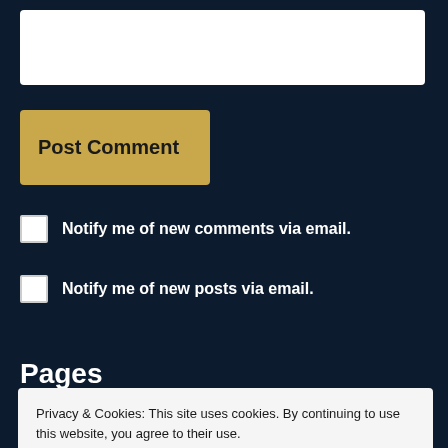[Figure (screenshot): White text input box for comment entry]
[Figure (screenshot): Gold 'Post Comment' button]
Notify me of new comments via email.
Notify me of new posts via email.
Pages
Privacy & Cookies: This site uses cookies. By continuing to use this website, you agree to their use.
To find out more, including how to control cookies, see here: Cookie Policy
[Figure (screenshot): Gold 'Close and accept' button in cookie consent dialog]